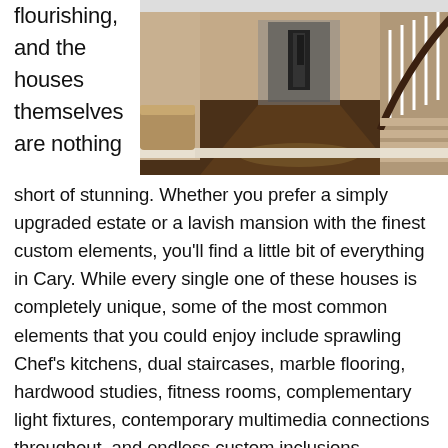flourishing, and the houses themselves are nothing
[Figure (photo): Interior hallway of a luxury home showing dark hardwood floors, white baseboards, a curved staircase with black railing and white balusters, and a view down the corridor.]
short of stunning. Whether you prefer a simply upgraded estate or a lavish mansion with the finest custom elements, you'll find a little bit of everything in Cary. While every single one of these houses is completely unique, some of the most common elements that you could enjoy include sprawling Chef's kitchens, dual staircases, marble flooring, hardwood studies, fitness rooms, complementary light fixtures, contemporary multimedia connections throughout, and endless custom inclusions.